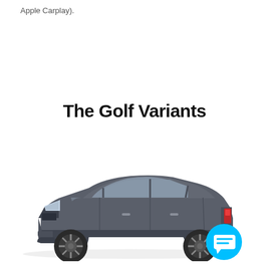Apple Carplay).
The Golf Variants
[Figure (illustration): Side view of a dark grey Volkswagen Golf hatchback on a white background, with a cyan chat/speech bubble icon in the lower right corner.]